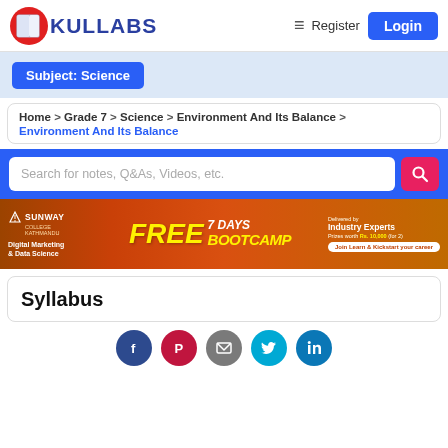[Figure (logo): Kullabs logo: book icon with red circle and blue text KULLABS]
Register
Login
Subject: Science
Home > Grade 7 > Science > Environment And Its Balance > Environment And Its Balance
Search for notes, Q&As, Videos, etc.
[Figure (infographic): Sunway College advertisement banner: FREE 7 DAYS BOOTCAMP Digital Marketing & Data Science, Delivered by Industry Experts, Prizes worth Rs. 10,000 (for 2), Join Learn & Kickstart your career]
Syllabus
[Figure (infographic): Social media icons row: Facebook, Pinterest, Mail, Twitter, LinkedIn]